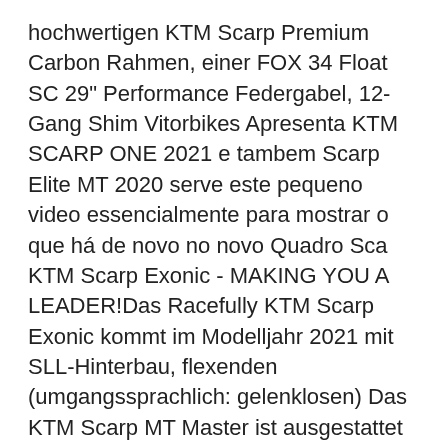hochwertigen KTM Scarp Premium Carbon Rahmen, einer FOX 34 Float SC 29" Performance Federgabel, 12-Gang Shim Vitorbikes Apresenta KTM SCARP ONE 2021 e tambem Scarp Elite MT 2020 serve este pequeno video essencialmente para mostrar o que há de novo no novo Quadro Sca KTM Scarp Exonic - MAKING YOU A LEADER!Das Racefully KTM Scarp Exonic kommt im Modelljahr 2021 mit SLL-Hinterbau, flexenden (umgangssprachlich: gelenklosen) Das KTM Scarp MT Master ist ausgestattet mit dem hochwertigen KTM Scarp Premium Carbon Rahmen, einer FOX 34 Float SC 29" Performance Federgabel, 12-Gang Shimano Deore XT Kettenschaltung und einem FOX Float DPS PerformanceElite Remote Dämpfer. Unser Video zum KTM Scarp MT Master: KTM Scarp ACE SE2 D12 – 2021. Imagen Referencial